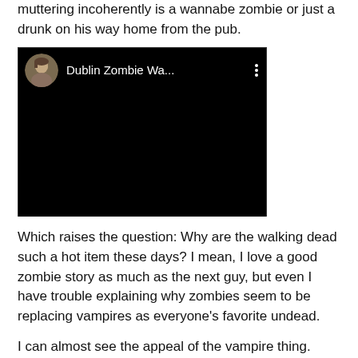muttering incoherently is a wannabe zombie or just a drunk on his way home from the pub.
[Figure (screenshot): Embedded YouTube-style video player with black background. Header shows a circular avatar photo of a man and the title 'Dublin Zombie Wa...' with a three-dot menu icon on a black background.]
Which raises the question: Why are the walking dead such a hot item these days? I mean, I love a good zombie story as much as the next guy, but even I have trouble explaining why zombies seem to be replacing vampires as everyone's favorite undead.
I can almost see the appeal of the vampire thing. There's a certain sexiness about vampires, or so the fans tell me. They're beautiful, their hunger equates with great passion, they bite your neck — hey, it's not my kink, but whatever floats your boat. But